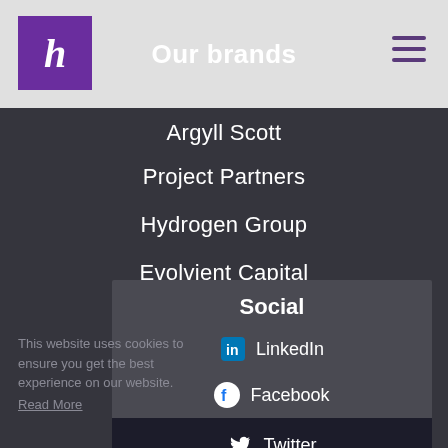Our brands
Argyll Scott
Project Partners
Hydrogen Group
Evolvient Capital
Social
This website uses cookies to ensure you get the best experience on our website.
Read More
LinkedIn
Facebook
Twitter
Instagram